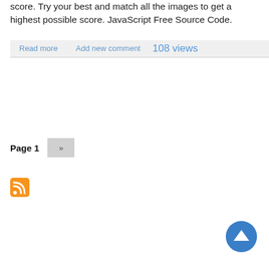score. Try your best and match all the images to get a highest possible score. JavaScript Free Source Code.
Read more   Add new comment   108 views
Page 1  »
[Figure (logo): RSS feed orange icon]
[Figure (other): Blue circle scroll-to-top button with upward arrow]